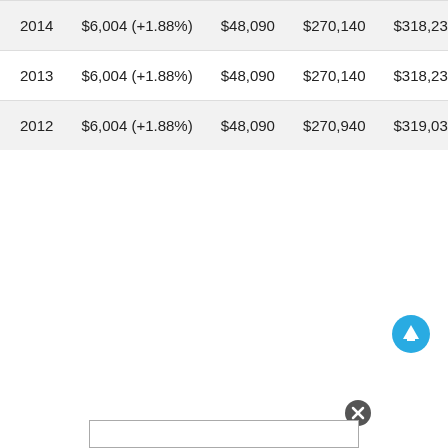| 2014 | $6,004 (+1.88%) | $48,090 | $270,140 | $318,230 |
| 2013 | $6,004 (+1.88%) | $48,090 | $270,140 | $318,230 |
| 2012 | $6,004 (+1.88%) | $48,090 | $270,940 | $319,030 |